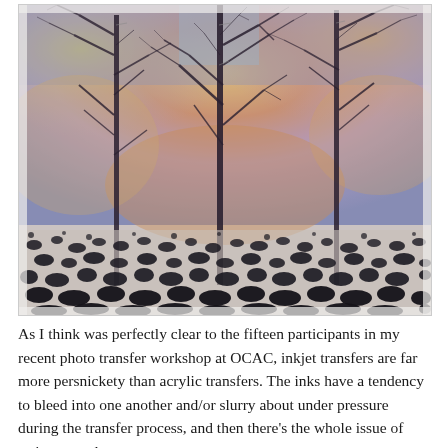[Figure (photo): A Polaroid-style photo transfer artwork showing bare winter trees with dark intricate branches against a colorful sky background with warm orange, yellow, and purple-blue hues. The bottom portion shows a textured, speckled dark pattern resembling snow or ground texture. The image has the characteristic look of an inkjet photo transfer with bleeding and blurring of colors.]
As I think was perfectly clear to the fifteen participants in my recent photo transfer workshop at OCAC, inkjet transfers are far more persnickety than acrylic transfers. The inks have a tendency to bleed into one another and/or slurry about under pressure during the transfer process, and then there's the whole issue of trying to seal